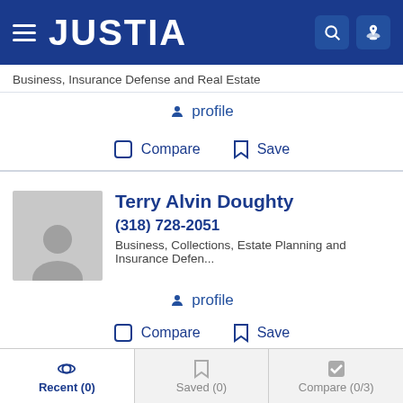JUSTIA
Business, Insurance Defense and Real Estate
profile
Compare   Save
Terry Alvin Doughty
(318) 728-2051
Business, Collections, Estate Planning and Insurance Defen...
profile
Compare   Save
Iohn Hovchick Ir
Recent (0)   Saved (0)   Compare (0/3)